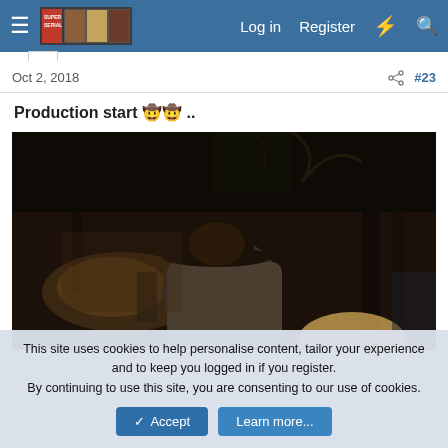Log in  Register
Oct 2, 2018  #23
Production start 🤠🤠 ..
[Figure (photo): Person wearing a cowboy hat outdoors in a forest setting, appearing to be on a film set. Dark, moody outdoor scene with trees in background.]
This site uses cookies to help personalise content, tailor your experience and to keep you logged in if you register.
By continuing to use this site, you are consenting to our use of cookies.